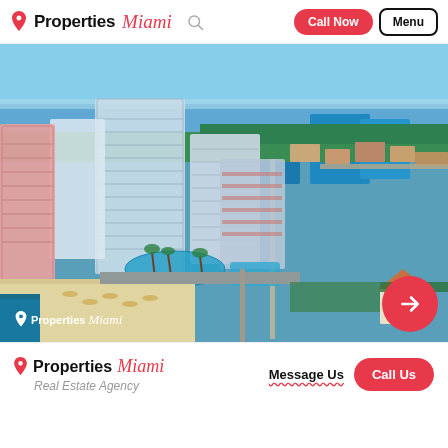Properties Miami | Call Now | Menu
[Figure (photo): Aerial view of luxury beachfront hotel and condominium towers in Fort Lauderdale / Miami area, showing beach, pool, waterways, and surrounding neighborhood. Properties Miami watermark logo in bottom left corner.]
[Figure (other): Red circular arrow button (next/forward) overlaid on lower right of photo]
Properties Miami Real Estate Agency | Message Us | Call Us